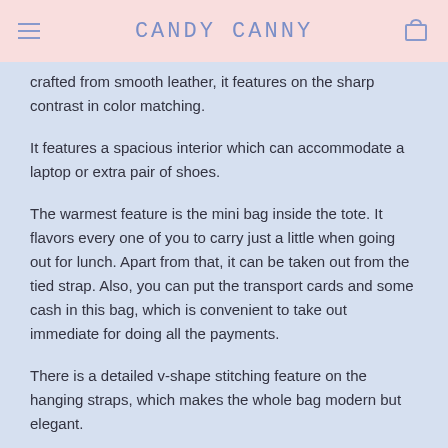CANDY CANNY
crafted from smooth leather, it features on the sharp contrast in color matching.
It features a spacious interior which can accommodate a laptop or extra pair of shoes.
The warmest feature is the mini bag inside the tote. It flavors every one of you to carry just a little when going out for lunch. Apart from that, it can be taken out from the tied strap. Also, you can put the transport cards and some cash in this bag, which is convenient to take out immediate for doing all the payments.
There is a detailed v-shape stitching feature on the hanging straps, which makes the whole bag modern but elegant.